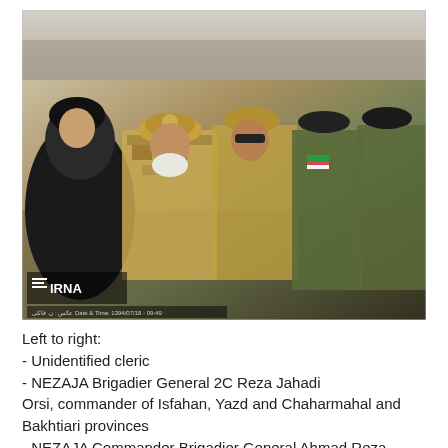[Figure (photo): A group of Iranian military officials and a cleric sitting in rows at an outdoor event. The cleric on the far left wears a black turban and dark robe. Military officers are dressed in desert camouflage and olive/green flight suits, wearing caps with insignia. An IRNA watermark is visible in the lower left corner of the photo.]
Left to right:
- Unidentified cleric
- NEZAJA Brigadier General 2C Reza Jahadi Orsi, commander of Isfahan, Yazd and Chaharmahal and Bakhtiari provinces
- NEZAJA Commander Brigadier General Ahmad Reza